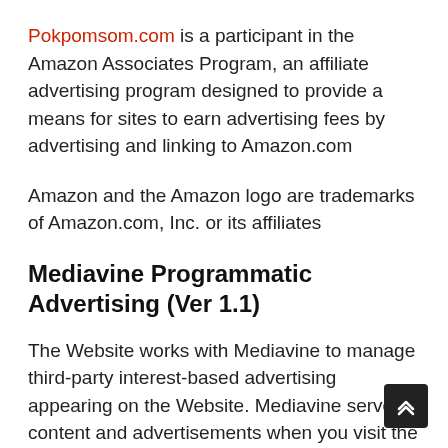Pokpomsom.com is a participant in the Amazon Associates Program, an affiliate advertising program designed to provide a means for sites to earn advertising fees by advertising and linking to Amazon.com
Amazon and the Amazon logo are trademarks of Amazon.com, Inc. or its affiliates
Mediavine Programmatic Advertising (Ver 1.1)
The Website works with Mediavine to manage third-party interest-based advertising appearing on the Website. Mediavine serves content and advertisements when you visit the Website, which may use first and third-